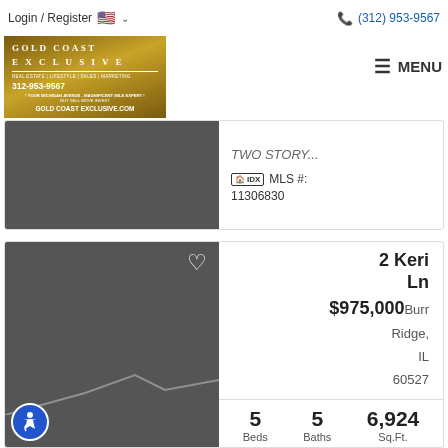Login / Register  (312) 953-9567
[Figure (logo): Gold Coast Exclusive real estate logo with gold background, text: GOLD COAST EXCLUSIVE, REAL ESTATE | LIFESTYLE | SALES | MARKETING, 312-953-9567, YOUR MICHIGAN AVENUE - MAGNIFICENT MILE EXPERT!, BUY SELL MOVE INVEST, GOLDCOASTEXCLUSIVE.COM]
MENU
TWO STORY...
IDX  MLS #: 11306830
2 Keri Ln
$975,000  Burr Ridge, IL 60527
| Beds | Baths | Sq.Ft. |
| --- | --- | --- |
| 5 | 5 | 6,924 |